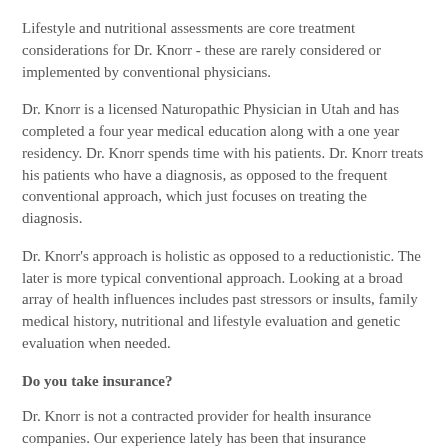Lifestyle and nutritional assessments are core treatment considerations for Dr. Knorr - these are rarely considered or implemented by conventional physicians.
Dr. Knorr is a licensed Naturopathic Physician in Utah and has completed a four year medical education along with a one year residency. Dr. Knorr spends time with his patients. Dr. Knorr treats his patients who have a diagnosis, as opposed to the frequent conventional approach, which just focuses on treating the diagnosis.
Dr. Knorr's approach is holistic as opposed to a reductionistic. The later is more typical conventional approach. Looking at a broad array of health influences includes past stressors or insults, family medical history, nutritional and lifestyle evaluation and genetic evaluation when needed.
Do you take insurance?
Dr. Knorr is not a contracted provider for health insurance companies. Our experience lately has been that insurance companies have become less likely to cover naturopathic medical services. Some